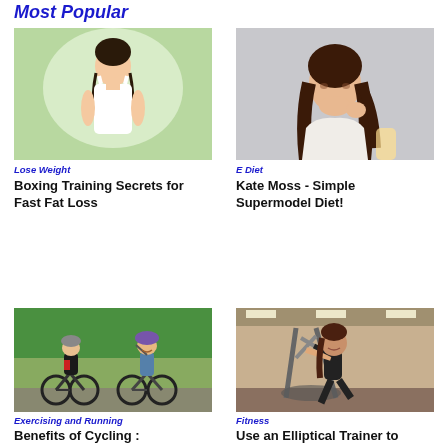Most Popular
[Figure (photo): Young smiling Asian woman in white tank top against green background]
Lose Weight
Boxing Training Secrets for Fast Fat Loss
[Figure (photo): Young brunette woman in white top against grey background]
E Diet
Kate Moss - Simple Supermodel Diet!
[Figure (photo): Man and woman on bicycles outdoors in nature]
Exercising and Running
Benefits of Cycling :
[Figure (photo): Woman in black workout gear using elliptical trainer in gym]
Fitness
Use an Elliptical Trainer to